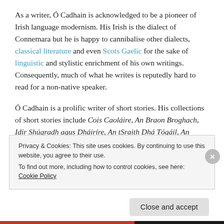As a writer, Ó Cadhain is acknowledged to be a pioneer of Irish language modernism. His Irish is the dialect of Connemara but he is happy to cannibalise other dialects, classical literature and even Scots Gaelic for the sake of linguistic and stylistic enrichment of his own writings. Consequently, much of what he writes is reputedly hard to read for a non-native speaker.
Ó Cadhain is a prolific writer of short stories. His collections of short stories include Cois Caoláire, An Braon Broghach, Idir Shúgradh agus Dháiríre, An tSraith Dhá Tógáil, An tSraith Tógtha and An tSraith ar Lár. He also
Privacy & Cookies: This site uses cookies. By continuing to use this website, you agree to their use.
To find out more, including how to control cookies, see here: Cookie Policy
Close and accept